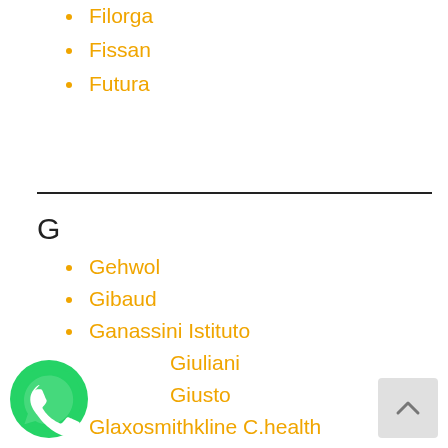Filorga
Fissan
Futura
G
Gehwol
Gibaud
Ganassini Istituto
Giuliani
Giusto
Glaxosmithkline C.health